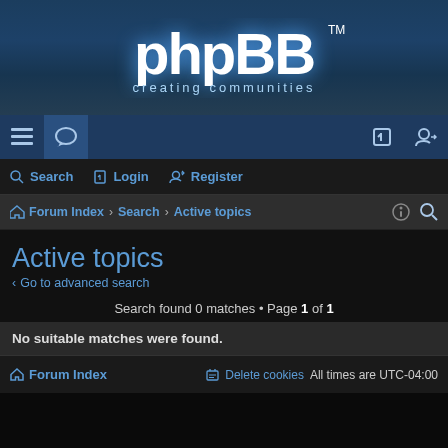[Figure (logo): phpBB logo with text 'creating communities' on dark blue textured background]
Navigation bar with hamburger menu, chat icon, login icon, register icon
Search  Login  Register
Forum Index › Search › Active topics
Active topics
< Go to advanced search
Search found 0 matches • Page 1 of 1
No suitable matches were found.
Search found 0 matches • Page 1 of 1
Jump to
Forum Index   Delete cookies   All times are UTC-04:00